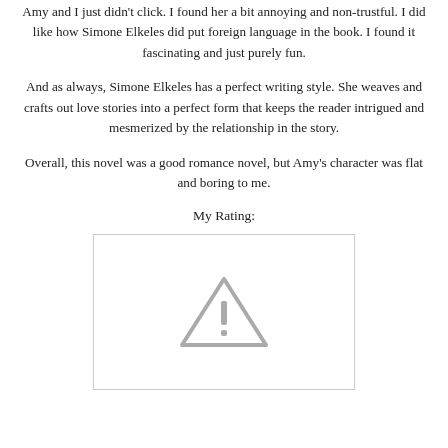Amy and I just didn't click. I found her a bit annoying and non-trustful. I did like how Simone Elkeles did put foreign language in the book. I found it fascinating and just purely fun.
And as always, Simone Elkeles has a perfect writing style. She weaves and crafts out love stories into a perfect form that keeps the reader intrigued and mesmerized by the relationship in the story.
Overall, this novel was a good romance novel, but Amy's character was flat and boring to me.
My Rating:
[Figure (other): A broken image placeholder showing a grey warning triangle with exclamation mark inside a white bordered box, indicating a missing image (likely a star rating image).]